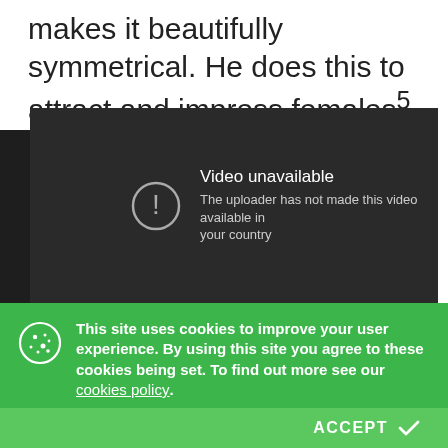makes it beautifully symmetrical. He does this to attract and impress females⁵.
[Figure (screenshot): Video unavailable screen from an embedded video player with dark background. Text reads 'Video unavailable' and 'The uploader has not made this video available in your country'.]
This site uses cookies to improve your user experience. By using this site you agree to these cookies being set. To find out more see our cookies policy.